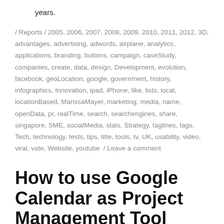years.
/ Reports / 2005, 2006, 2007, 2008, 2009, 2010, 2011, 2012, 3D, advantages, advertising, adwords, airplane, analytics, applications, branding, buttons, campaign, caseStudy, companies, create, data, design, Development, evolution, facebook, geoLocation, google, government, history, infographics, Innovation, ipad, iPhone, like, lists, local, locationBased, MarissaMayer, marketing, media, name, openData, pr, realTime, search, searchengines, share, singapore, SME, socialMedia, stats, Strategy, taglines, tags, Tech, technology, tests, tips, title, tools, tv, UK, usability, video, viral, vote, Website, youtube / Leave a comment
How to use Google Calendar as Project Management Tool